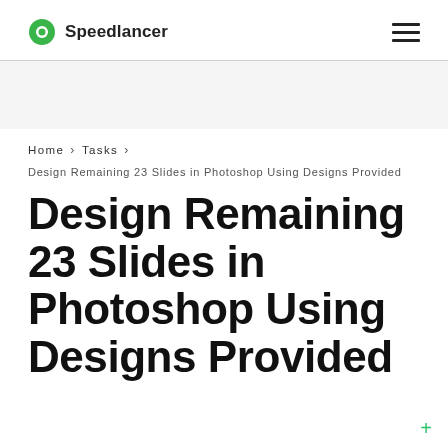Speedlancer
Home > Tasks >
Design Remaining 23 Slides in Photoshop Using Designs Provided
Design Remaining 23 Slides in Photoshop Using Designs Provided